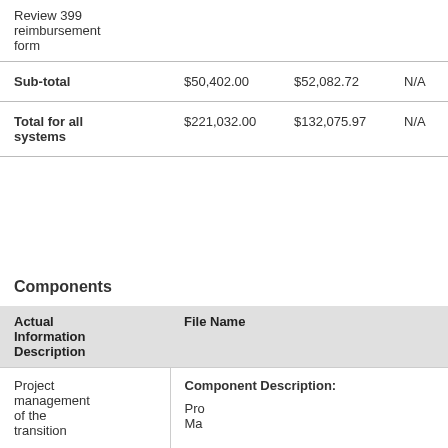|  |  |  |  |
| --- | --- | --- | --- |
| Review 399 reimbursement form |  |  |  |
| Sub-total | $50,402.00 | $52,082.72 | N/A |
| Total for all systems | $221,032.00 | $132,075.97 | N/A |
Components
| Actual Information Description | File Name |
| --- | --- |
| Project management of the transition | Component Description: Pro Ma
Amount: $4 |